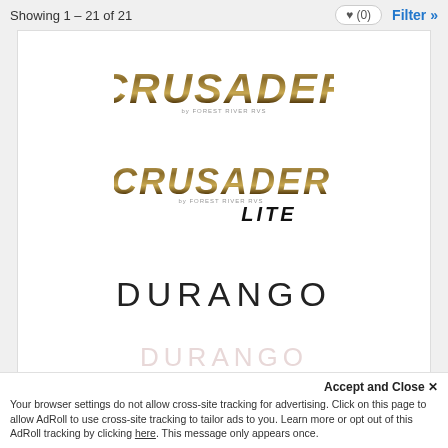Showing 1 – 21 of 21
[Figure (logo): Crusader logo in metallic gold/black italic bold font with small tagline text beneath]
[Figure (logo): Crusader Lite logo in metallic gold/black italic bold font with LITE in black italic below]
[Figure (logo): DURANGO wordmark in large spaced black uppercase sans-serif letters]
[Figure (logo): Partial faded DURANGO and second line logo at bottom of listing area]
Accept and Close ✕
Your browser settings do not allow cross-site tracking for advertising. Click on this page to allow AdRoll to use cross-site tracking to tailor ads to you. Learn more or opt out of this AdRoll tracking by clicking here. This message only appears once.